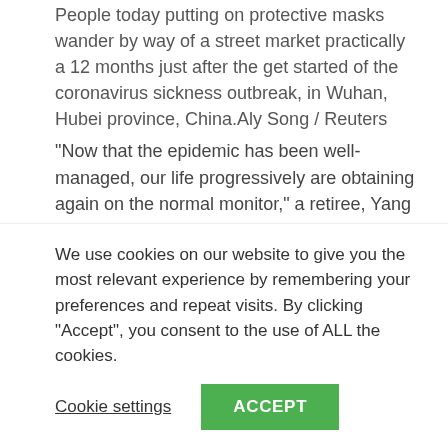People today putting on protective masks wander by way of a street market practically a 12 months just after the get started of the coronavirus sickness outbreak, in Wuhan, Hubei province, China.Aly Song / Reuters
“Now that the epidemic has been well-managed, our life progressively are obtaining again on the normal monitor,” a retiree, Yang Xiuhua, 67, advised NBC Information.
China funneled nationwide means and knowledge into
We use cookies on our website to give you the most relevant experience by remembering your preferences and repeat visits. By clicking “Accept”, you consent to the use of ALL the cookies.
Cookie settings
ACCEPT